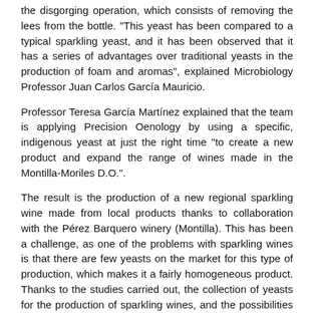the disgorging operation, which consists of removing the lees from the bottle. "This yeast has been compared to a typical sparkling yeast, and it has been observed that it has a series of advantages over traditional yeasts in the production of foam and aromas", explained Microbiology Professor Juan Carlos García Mauricio.
Professor Teresa García Martínez explained that the team is applying Precision Oenology by using a specific, indigenous yeast at just the right time "to create a new product and expand the range of wines made in the Montilla-Moriles D.O.".
The result is the production of a new regional sparkling wine made from local products thanks to collaboration with the Pérez Barquero winery (Montilla). This has been a challenge, as one of the problems with sparkling wines is that there are few yeasts on the market for this type of production, which makes it a fairly homogeneous product. Thanks to the studies carried out, the collection of yeasts for the production of sparkling wines, and the possibilities for their commercialization, have been expanded.
Martínez-García R., Mauricio J.C., García-Martínez T., Peinado R.A., Moreno J., (2021) Towards a better understanding of the production of sparkling wines...